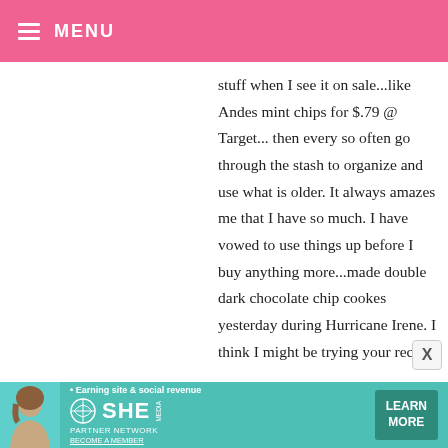MENU
stuff when I see it on sale...like Andes mint chips for $.79 @ Target... then every so often go through the stash to organize and use what is older. It always amazes me that I have so much. I have vowed to use things up before I buy anything more...made double dark chocolate chip cookes yesterday during Hurricane Irene. I think I might be trying your recipe next...so thanks!! Hope you are doing well, Angie
[Figure (infographic): SHE Media partner network advertisement banner with teal background, photo of woman, bullet point reading 'Earning site & social revenue', SHE logo, PARTNER NETWORK text, BECOME A MEMBER link, and LEARN MORE button]